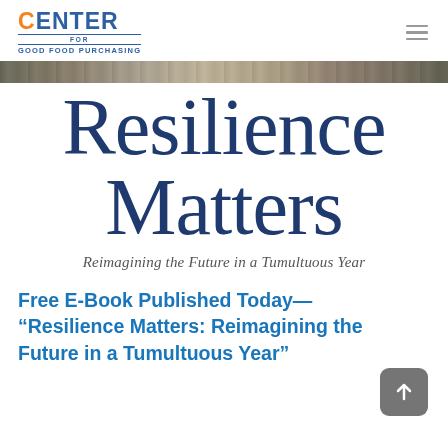[Figure (logo): Center for Good Food Purchasing logo with orange 'C' and blue 'ENTER' text, with 'FOR GOOD FOOD PURCHASING' underneath]
Resilience Matters
Reimagining the Future in a Tumultuous Year
Free E-Book Published Today—“Resilience Matters: Reimagining the Future in a Tumultuous Year”